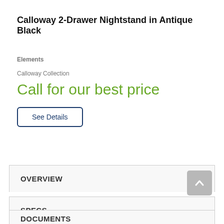Calloway 2-Drawer Nightstand in Antique Black
Elements
Calloway Collection
Call for our best price
See Details
OVERVIEW
SPECS
DOCUMENTS
VIDEOS